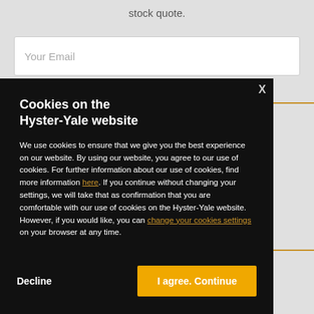stock quote.
Your Email
Cookies on the Hyster-Yale website
We use cookies to ensure that we give you the best experience on our website. By using our website, you agree to our use of cookies. For further information about our use of cookies, find more information here. If you continue without changing your settings, we will take that as confirmation that you are comfortable with our use of cookies on the Hyster-Yale website. However, if you would like, you can change your cookies settings on your browser at any time.
Decline
I agree. Continue
Request Information